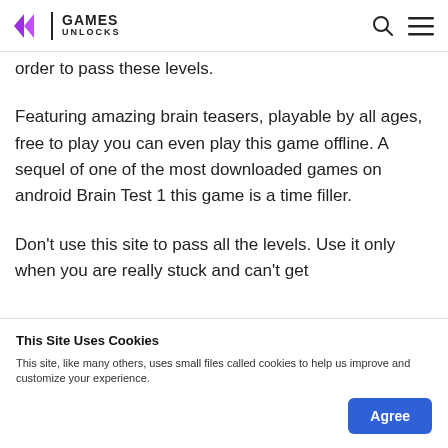GAMES UNLOCKS
order to pass these levels.
Featuring amazing brain teasers, playable by all ages, free to play you can even play this game offline. A sequel of one of the most downloaded games on android Brain Test 1 this game is a time filler.
Don’t use this site to pass all the levels. Use it only when you are really stuck and can’t get
This Site Uses Cookies
This site, like many others, uses small files called cookies to help us improve and customize your experience.